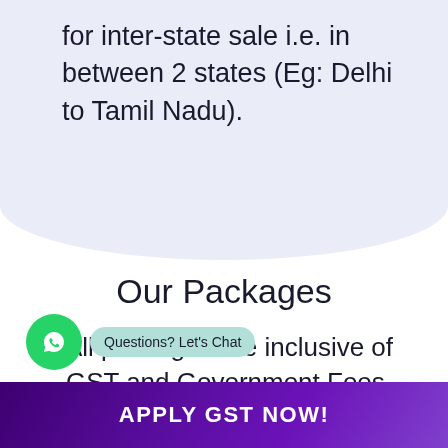for inter-state sale i.e. in between 2 states (Eg: Delhi to Tamil Nadu).
Our Packages
All packages are inclusive of GST and Government Fees.
[Figure (other): WhatsApp chat button with 'Questions? Let's Chat' tooltip]
APPLY GST NOW!